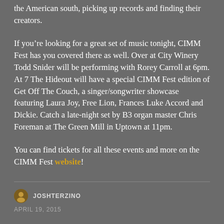the American south, picking up records and finding their creators.
If you're looking for a great set of music tonight, CIMM Fest has you covered there as well. Over at City Winery Todd Snider will be performing with Rorey Carroll at 6pm. At 7 The Hideout will have a special CIMM Fest edition of Get Off The Couch, a singer/songwriter showcase featuring Laura Joy, Free Lion, Frances Luke Accord and Dickie. Catch a late-night set by B3 organ master Chris Foreman at The Green Mill in Uptown at 11pm.
You can find tickets for all these events and more on the CIMM Fest website!
JOSHTERZINO
APRIL 19, 2015